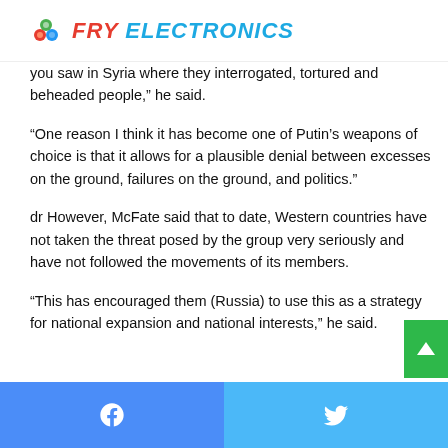FRY ELECTRONICS
you saw in Syria where they interrogated, tortured and beheaded people,” he said.
“One reason I think it has become one of Putin’s weapons of choice is that it allows for a plausible denial between excesses on the ground, failures on the ground, and politics.”
dr However, McFate said that to date, Western countries have not taken the threat posed by the group very seriously and have not followed the movements of its members.
“This has encouraged them (Russia) to use this as a strategy for national expansion and national interests,” he said.
Facebook share | Twitter share